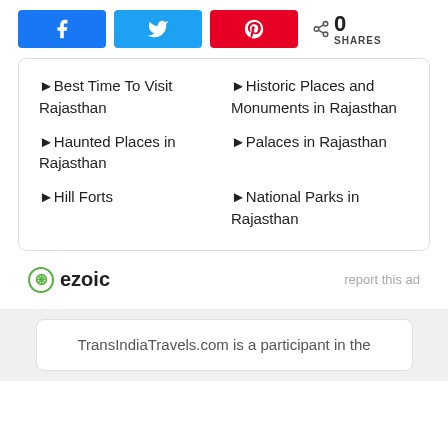[Figure (other): Social share buttons: Facebook (blue), Twitter (light blue), Pinterest (red), and share count showing 0 SHARES]
►Best Time To Visit Rajasthan
►Historic Places and Monuments in Rajasthan
►Haunted Places in Rajasthan
►Palaces in Rajasthan
►National Parks in Rajasthan
►Hill Forts
[Figure (logo): ezoic logo with green circle icon]
report this ad
TransIndiaTravels.com is a participant in the